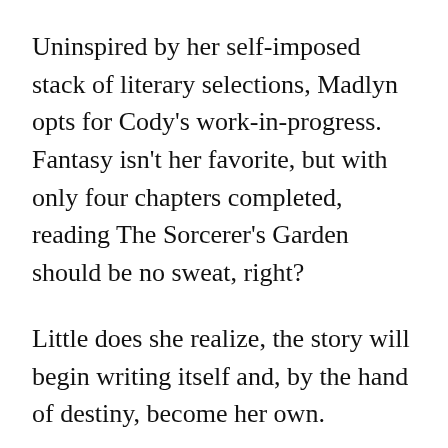Uninspired by her self-imposed stack of literary selections, Madlyn opts for Cody's work-in-progress. Fantasy isn't her favorite, but with only four chapters completed, reading The Sorcerer's Garden should be no sweat, right?
Little does she realize, the story will begin writing itself and, by the hand of destiny, become her own.
***
D. Wallace Peach's eighth novel is a collision of medieval and urban fantasy centered in the Northwest Hills of Portland, Oregon